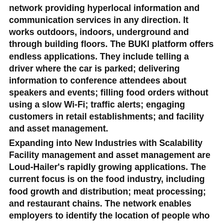network providing hyperlocal information and communication services in any direction. It works outdoors, indoors, underground and through building floors. The BUKI platform offers endless applications. They include telling a driver where the car is parked; delivering information to conference attendees about speakers and events; filling food orders without using a slow Wi-Fi; traffic alerts; engaging customers in retail establishments; and facility and asset management.
Expanding into New Industries with Scalability Facility management and asset management are Loud-Hailer's rapidly growing applications. The current focus is on the food industry, including food growth and distribution; meat processing; and restaurant chains. The network enables employers to identify the location of people who